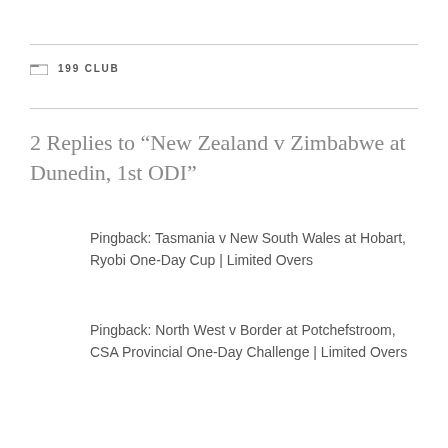199 CLUB
2 Replies to “New Zealand v Zimbabwe at Dunedin, 1st ODI”
Pingback: Tasmania v New South Wales at Hobart, Ryobi One-Day Cup | Limited Overs
Pingback: North West v Border at Potchefstroom, CSA Provincial One-Day Challenge | Limited Overs